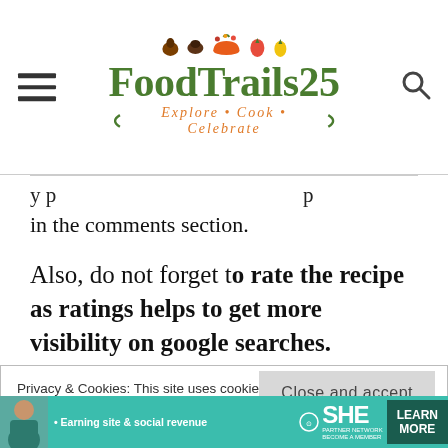[Figure (logo): FoodTrails25 website logo with food icons, tagline Explore Cook Celebrate, hamburger menu and search icon]
y p p
in the comments section.
Also, do not forget to rate the recipe as ratings helps to get more visibility on google searches.
Privacy & Cookies: This site uses cookies. By continuing to use this website, you agree to their use.
To find out more, including how to control cookies, see here: Cookie Policy
[Figure (infographic): SHE Media partner network advertisement banner with learn more button]